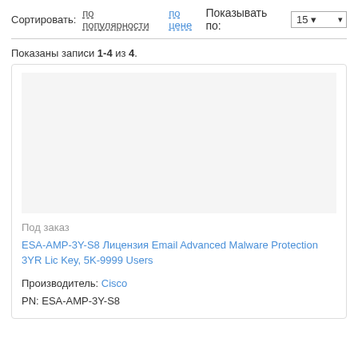Сортировать: по популярности по цене
Показывать по: 15
Показаны записи 1-4 из 4.
Под заказ
ESA-AMP-3Y-S8 Лицензия Email Advanced Malware Protection 3YR Lic Key, 5K-9999 Users
Производитель: Cisco
PN: ESA-AMP-3Y-S8